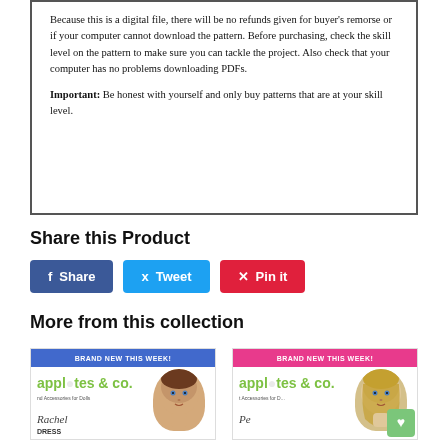Because this is a digital file, there will be no refunds given for buyer's remorse or if your computer cannot download the pattern. Before purchasing, check the skill level on the pattern to make sure you can tackle the project. Also check that your computer has no problems downloading PDFs.
Important: Be honest with yourself and only buy patterns that are at your skill level.
Share this Product
[Figure (other): Social sharing buttons: Facebook Share (blue), Twitter Tweet (light blue), Pinterest Pin it (red)]
More from this collection
[Figure (other): Product card with blue brand bar 'BRAND NEW THIS WEEK!', apple & co. logo in green, doll face image, script text 'Rachel', and 'DRESS' label below]
[Figure (other): Product card with pink brand bar 'BRAND NEW THIS WEEK!', apple & co. logo in green, doll face image, and partial script text 'Pe...' visible, with green heart button overlay]